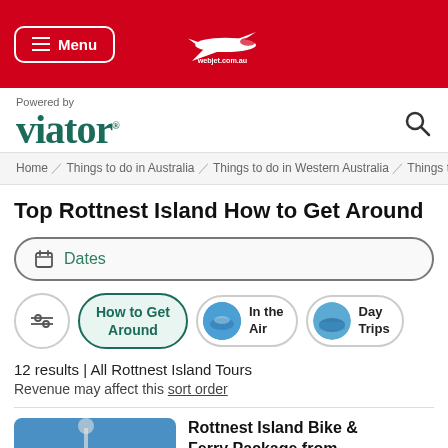Menu | webjet.com.au
[Figure (logo): Webjet airplane logo with text webjet.com.au on red header background]
Powered by
[Figure (logo): Viator logo in dark teal/green color]
Home / Things to do in Australia / Things to do in Western Australia / Things to...
Top Rottnest Island How to Get Around
Dates
How to Get Around
In the Air
Day Trips
12 results | All Rottnest Island Tours
Revenue may affect this sort order
Rottnest Island Bike & Ferry Package from